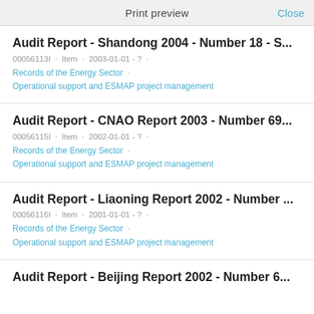Print preview   Close
Audit Report - Shandong 2004 - Number 18 - S...
00056113I · Item · 2003-01-01 - ? ·
Records of the Energy Sector ·
Operational support and ESMAP project management
Audit Report - CNAO Report 2003 - Number 69...
00056115I · Item · 2002-01-01 - ? ·
Records of the Energy Sector ·
Operational support and ESMAP project management
Audit Report - Liaoning Report 2002 - Number ...
00056116I · Item · 2001-01-01 - ? ·
Records of the Energy Sector ·
Operational support and ESMAP project management
Audit Report - Beijing Report 2002 - Number 6...